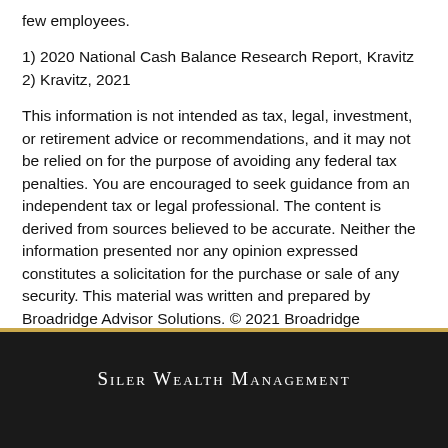few employees.
1) 2020 National Cash Balance Research Report, Kravitz
2) Kravitz, 2021
This information is not intended as tax, legal, investment, or retirement advice or recommendations, and it may not be relied on for the purpose of avoiding any federal tax penalties. You are encouraged to seek guidance from an independent tax or legal professional. The content is derived from sources believed to be accurate. Neither the information presented nor any opinion expressed constitutes a solicitation for the purchase or sale of any security. This material was written and prepared by Broadridge Advisor Solutions. © 2021 Broadridge Financial Solutions, Inc.
Siler Wealth Management